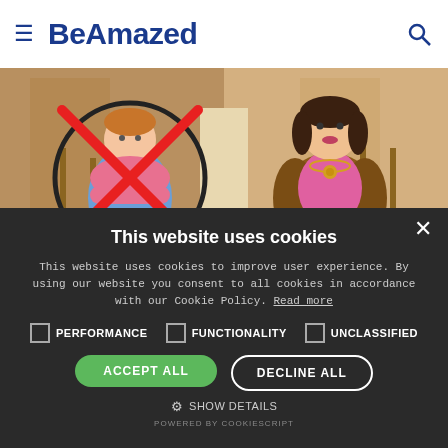BeAmazed
[Figure (illustration): Comic-style illustration showing two cartoon characters: on the left, a person with arms crossed with a red X through them, on the right, a woman in a fur coat with a necklace, on a staircase background.]
This website uses cookies
This website uses cookies to improve user experience. By using our website you consent to all cookies in accordance with our Cookie Policy. Read more
PERFORMANCE
FUNCTIONALITY
UNCLASSIFIED
ACCEPT ALL
DECLINE ALL
SHOW DETAILS
POWERED BY COOKIESCRIPT